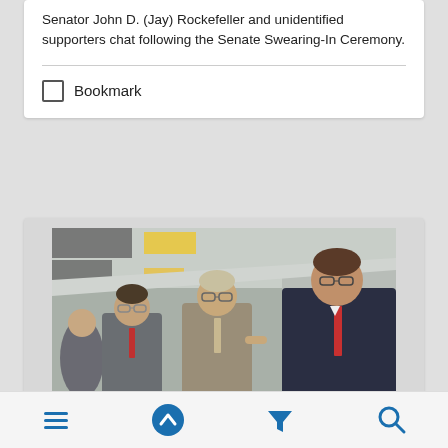Senator John D. (Jay) Rockefeller and unidentified supporters chat following the Senate Swearing-In Ceremony.
Bookmark
[Figure (photo): Senator John D. (Jay) Rockefeller chatting with unidentified supporters in a corridor following the Senate Swearing-In Ceremony. Several people in business attire are visible.]
Navigation bar with menu, up, filter, and search icons